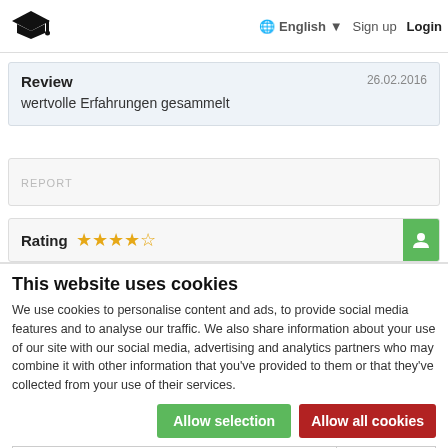English ▾   Sign up   Login
[Figure (logo): Graduation cap logo icon]
Review   26.02.2016
wertvolle Erfahrungen gesammelt
REPORT
Rating ★★★★½
This website uses cookies
We use cookies to personalise content and ads, to provide social media features and to analyse our traffic. We also share information about your use of our site with our social media, advertising and analytics partners who may combine it with other information that you've provided to them or that they've collected from your use of their services.
Allow selection   Allow all cookies
✓ Necessary   □ Preferences   □ Statistics   □ Marketing   Show details ∨